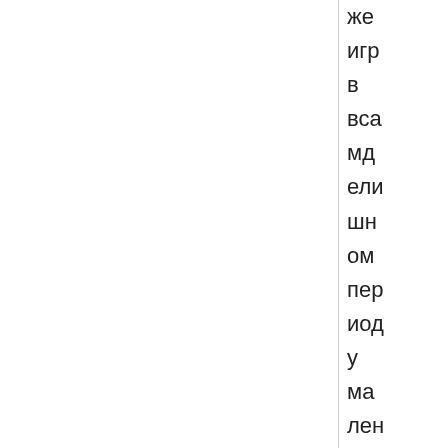же
игр
в
вса
мд
ели
шн
ом
пер
иод
у
ма
лен
ьки
й
об
ычн
ым
на
при
мен